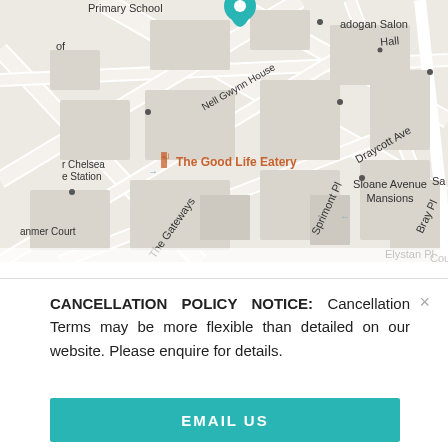[Figure (map): Street map of Chelsea area in London showing Nell Gwynn House, Sloane Avenue Mansions, The Good Life Eatery, Draycott Ave, Bray Pl, The Gateways, Sprimont Pl, Elystan Pl, and a teal map pin marker at Cadogan Salon.]
CANCELLATION POLICY NOTICE: Cancellation Terms may be more flexible than detailed on our website. Please enquire for details.
EMAIL US